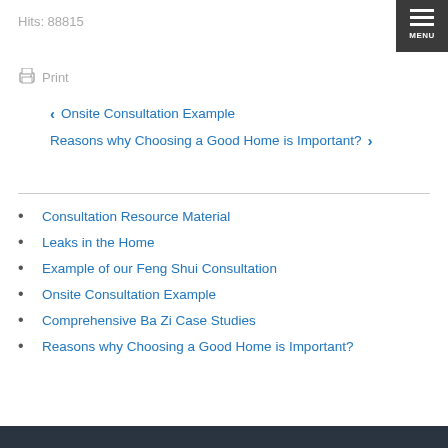Hits: 88815
Print
< Onsite Consultation Example
Reasons why Choosing a Good Home is Important? >
Consultation Resource Material
Leaks in the Home
Example of our Feng Shui Consultation
Onsite Consultation Example
Comprehensive Ba Zi Case Studies
Reasons why Choosing a Good Home is Important?